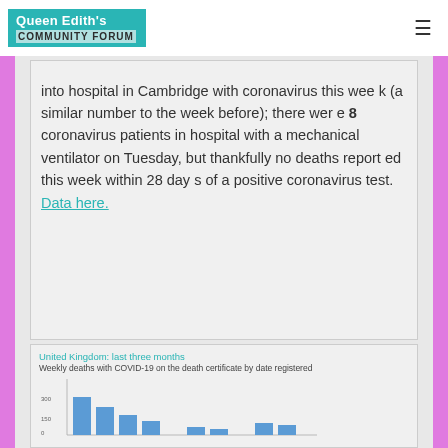Queen Edith's COMMUNITY FORUM
into hospital in Cambridge with coronavirus this week (a similar number to the week before); there were 8 coronavirus patients in hospital with a mechanical ventilator on Tuesday, but thankfully no deaths reported this week within 28 days of a positive coronavirus test. Data here.
[Figure (bar-chart): Weekly deaths with COVID-19 on the death certificate by date registered — bar chart showing last three months for United Kingdom]